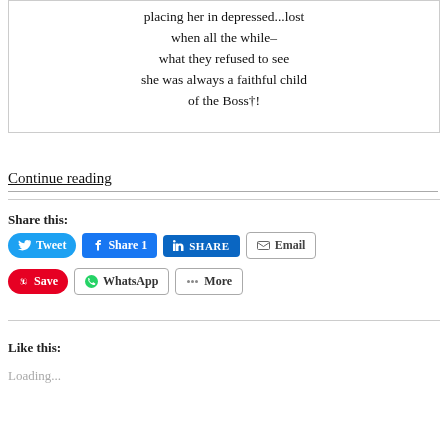placing her in depressed...lost
when all the while–
what they refused to see
she was always a faithful child
of the Boss†!
Continue reading
Share this:
Like this:
Loading...